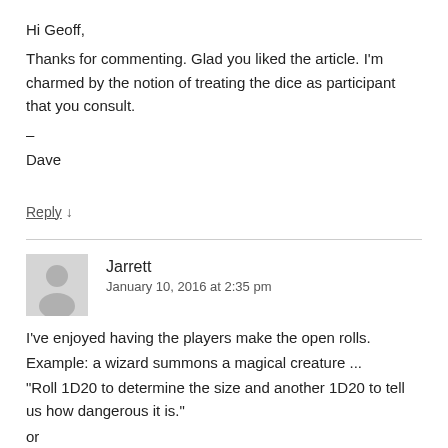Hi Geoff,
Thanks for commenting. Glad you liked the article. I'm charmed by the notion of treating the dice as participant that you consult.
–
Dave
Reply ↓
Jarrett
January 10, 2016 at 2:35 pm
I've enjoyed having the players make the open rolls.
Example: a wizard summons a magical creature ...
"Roll 1D20 to determine the size and another 1D20 to tell us how dangerous it is."
or